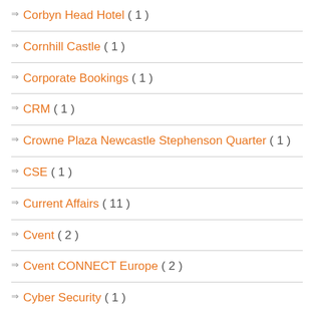Corbyn Head Hotel ( 1 )
Cornhill Castle ( 1 )
Corporate Bookings ( 1 )
CRM ( 1 )
Crowne Plaza Newcastle Stephenson Quarter ( 1 )
CSE ( 1 )
Current Affairs ( 11 )
Cvent ( 2 )
Cvent CONNECT Europe ( 2 )
Cyber Security ( 1 )